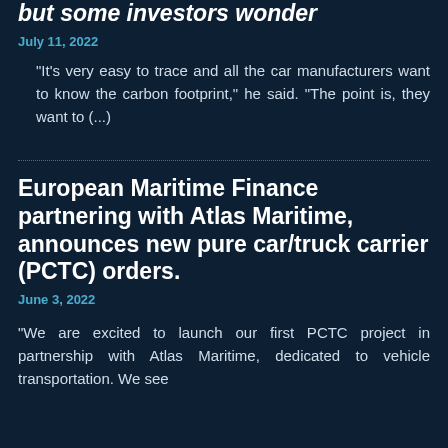but some investors wonder
July 11, 2022
"It's very easy to trace and all the car manufacturers want to know the carbon footprint," he said. "The point is, they want to (...)
European Maritime Finance partnering with Atlas Maritime, announces new pure car/truck carrier (PCTC) orders.
June 3, 2022
"We are excited to launch our first PCTC project in partnership with Atlas Maritime, dedicated to vehicle transportation. We see